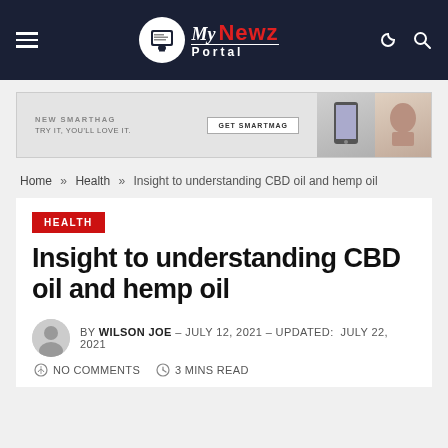My Newz Portal
[Figure (infographic): Advertisement banner for SmartMag: 'NEW SMARTHAG - TRY IT, YOU'LL LOVE IT.' with GET SMARTMAG button and device images.]
Home » Health » Insight to understanding CBD oil and hemp oil
HEALTH
Insight to understanding CBD oil and hemp oil
BY WILSON JOE – JULY 12, 2021 – UPDATED: JULY 22, 2021
NO COMMENTS   3 MINS READ